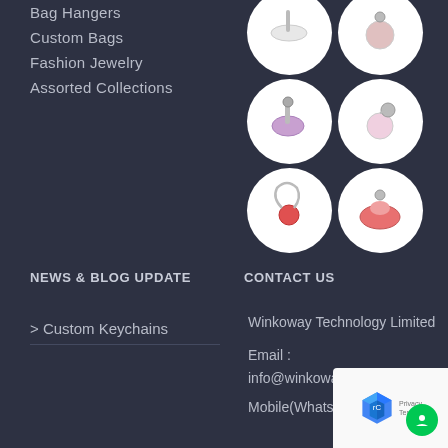Bag Hangers
Custom Bags
Fashion Jewelry
Assorted Collections
[Figure (photo): Grid of 6 product photos showing various bag hangers and keychains in circular white frames arranged in 3 rows of 2]
NEWS & BLOG UPDATE
CONTACT US
> Custom Keychains
Winkoway Technology Limited
Email : info@winkowaygift.
Mobile(WhatsApp/Wechat)